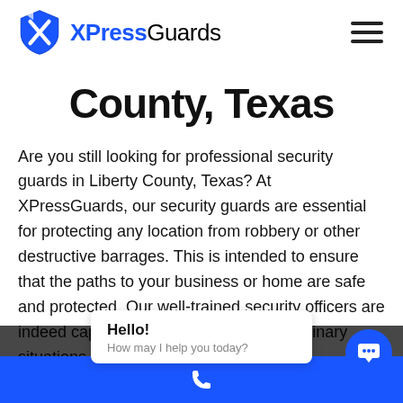[Figure (logo): XPressGuards logo: blue shield icon with stylized X, followed by text 'XPressGuards' with 'XPress' in blue bold and 'Guards' in black]
County, Texas
Are you still looking for professional security guards in Liberty County, Texas? At XPressGuards, our security guards are essential for protecting any location from robbery or other destructive barrages. This is intended to ensure that the paths to your business or home are safe and protected. Our well-trained security officers are indeed capable of responding to extraordinary situations, provide adequate support and assistan…